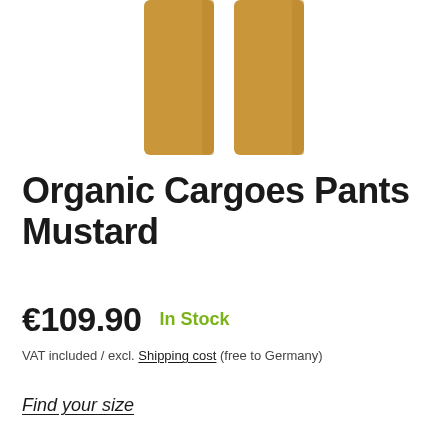[Figure (photo): Partial view of mustard-colored cargo pants legs against white background]
Organic Cargoes Pants Mustard
€109.90   In Stock
VAT included / excl. Shipping cost (free to Germany)
Find your size